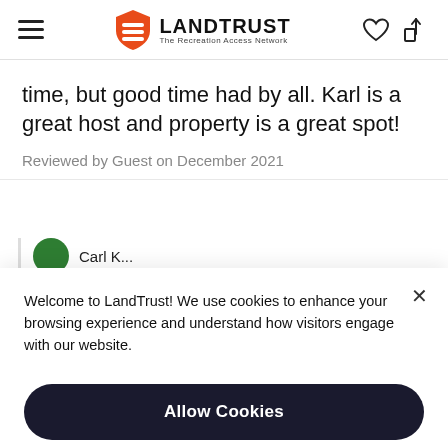LANDTRUST – The Recreation Access Network
time, but good time had by all. Karl is a great host and property is a great spot!
Reviewed by Guest on December 2021
Welcome to LandTrust! We use cookies to enhance your browsing experience and understand how visitors engage with our website.
Allow Cookies